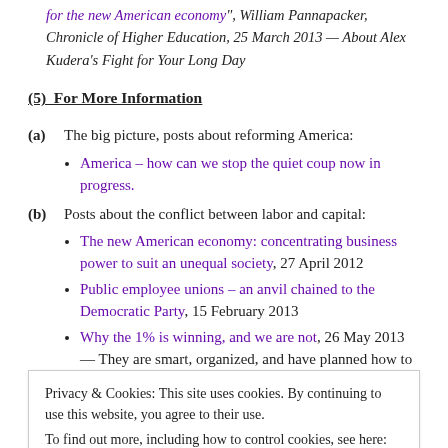for the new American economy", William Pannapacker, Chronicle of Higher Education, 25 March 2013 — About Alex Kudera's Fight for Your Long Day
(5)  For More Information
(a)  The big picture, posts about reforming America:
America – how can we stop the quiet coup now in progress.
(b)  Posts about the conflict between labor and capital:
The new American economy: concentrating business power to suit an unequal society, 27 April 2012
Public employee unions – an anvil chained to the Democratic Party, 15 February 2013
Why the 1% is winning, and we are not, 26 May 2013 — They are smart, organized, and have planned how to win.
On this Labor Day, let's remember what unions have done for America... (truncated)
Privacy & Cookies: This site uses cookies. By continuing to use this website, you agree to their use. To find out more, including how to control cookies, see here: Cookie Policy
2. An opportunity to look in the mirror, to more clearly see America, 10